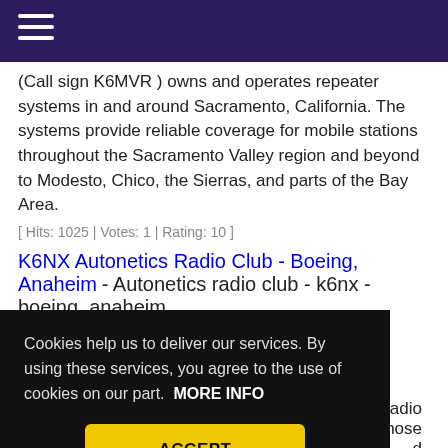Navigation menu (hamburger icon)
(Call sign K6MVR ) owns and operates repeater systems in and around Sacramento, California. The systems provide reliable coverage for mobile stations throughout the Sacramento Valley region and beyond to Modesto, Chico, the Sierras, and parts of the Bay Area.
[ Hits: 1025 | Votes: 1 | Rating: 10 ]
K6NX Autonetics Radio Club - Boeing, Anaheim - Autonetics radio club - k6nx - boeing, anaheim
[ Hits: 573 | Votes: 0 | Rating: 0 ]
K6PV Palos Verdes Amateur Radio Club - Founded ... Radio ... whose ... d ...
Cookies help us to deliver our services. By using these services, you agree to the use of cookies on our part.  MORE INFO
ACCEPT